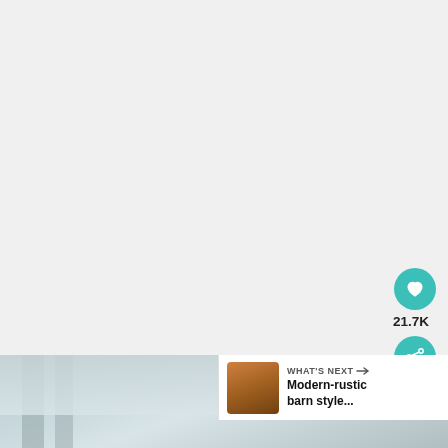[Figure (photo): Large white/light gray area — upper portion of an architectural interior photo, showing minimal visible content (mostly blank/white space)]
[Figure (photo): Bottom portion of an architectural interior photo showing a modern interior with white structural columns/mullions, slanted ceiling with recessed lighting, and light blue-gray walls]
21.7K
WHAT'S NEXT → Modern-rustic barn style...